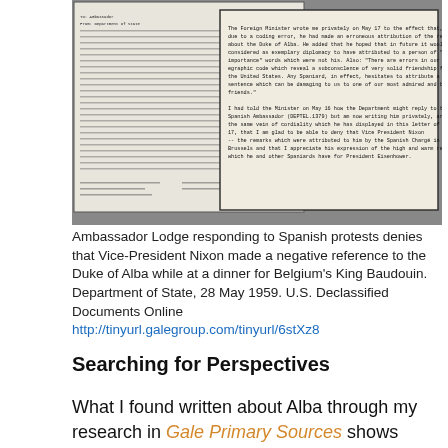[Figure (photo): Scanned declassified U.S. Department of State document showing two overlapping pages of typewritten text. The front page contains a typed excerpt about the Foreign Minister writing privately on May 17 regarding a coding error and an erroneous attribution of remarks about the Duke of Alba, referencing Vice President Nixon and President Eisenhower. Behind it is another typed document page with a signature block.]
Ambassador Lodge responding to Spanish protests denies that Vice-President Nixon made a negative reference to the Duke of Alba while at a dinner for Belgium's King Baudouin. Department of State, 28 May 1959. U.S. Declassified Documents Online http://tinyurl.galegroup.com/tinyurl/6stXz8
Searching for Perspectives
What I found written about Alba through my research in Gale Primary Sources shows how agenda, interpretation and perspective are